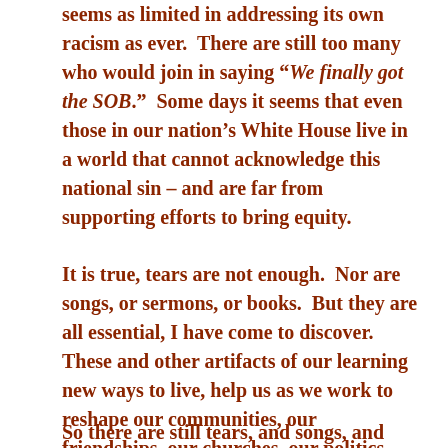seems as limited in addressing its own racism as ever.  There are still too many who would join in saying “We finally got the SOB.”  Some days it seems that even those in our nation’s White House live in a world that cannot acknowledge this national sin – and are far from supporting efforts to bring equity.
It is true, tears are not enough.  Nor are songs, or sermons, or books.  But they are all essential, I have come to discover.  These and other artifacts of our learning new ways to live, help us as we work to reshape our communities, our friendships, our churches, our politics.
So there are still tears, and songs, and sermons,